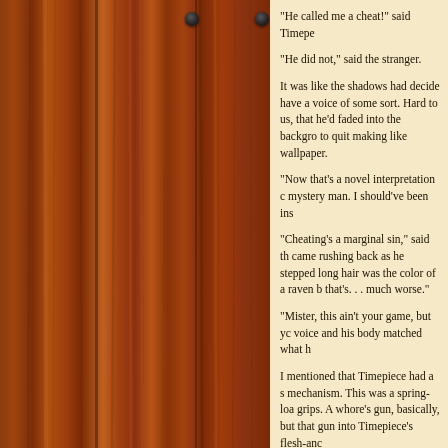[Figure (photo): Wooden planks panel, dark reddish-brown wood grain texture with two dark nail heads visible near the top.]
“He called me a cheat!” said Timepe
“He did not,” said the stranger.
It was like the shadows had decide have a voice of some sort. Hard to us, that he’d faded into the backgro to quit making like wallpaper.
“Now that’s a novel interpretation c mystery man. I should’ve been ins
“Cheating’s a marginal sin,” said th came rushing back as he stepped long hair was the color of a raven b that’s. . . much worse.”
“Mister, this ain’t your game, but yc voice and his body matched what h
I mentioned that Timepiece had a s mechanism. This was a spring-loa grips. A whore’s gun, basically, but that gun into Timepiece’s flesh-anc
“Oh, come on now, Timepiece,” sa
“Sh-it!” Timepiece cried. His